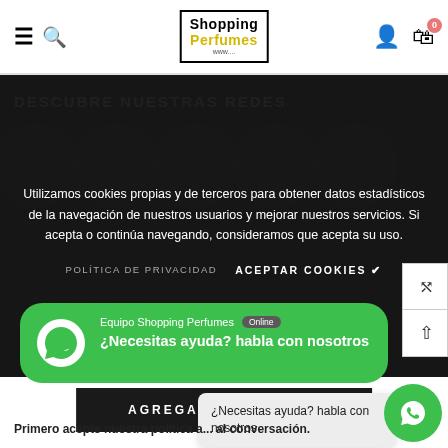Shopping Perfumes
DESCUBRE NUESTRAS REDES
Utilizamos cookies propias y de terceros para obtener datos estadísticos de la navegación de nuestros usuarios y mejorar nuestros servicios. Si acepta o continúa navegando, consideramos que acepta su uso.
POLÍTICA DE PRIVACIDAD   ACEPTAR COOKIES ✔
LIKE US ON FACEBOOK
AGREGAR AL CARRITO
[Figure (screenshot): WhatsApp chat bubble: Equipo Shopping Perfumes - Online. ¿Necesitas ayuda? habla con nosotros]
¿Necesitas ayuda? habla con nosotros
Primero acepte nuestra política a... conversación.